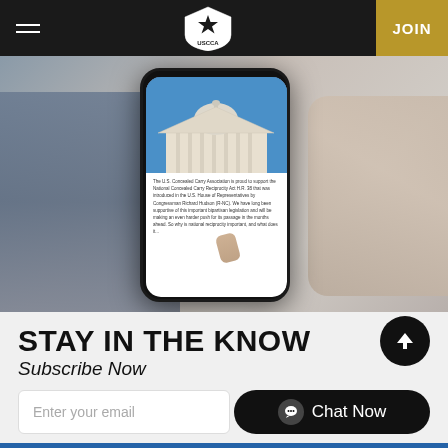USCCA navigation bar with hamburger menu, USCCA logo, and JOIN button
[Figure (photo): Person holding a smartphone showing USCCA content about National Concealed Carry Reciprocity Act with US Capitol building image on screen]
STAY IN THE KNOW
Subscribe Now
Enter your email
Chat Now